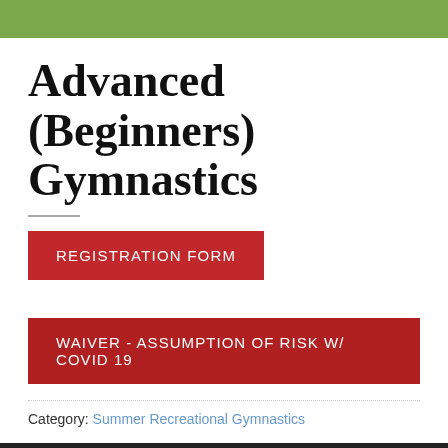Advanced (Beginners) Gymnastics
REGISTRATION FORM
WAIVER - ASSUMPTION OF RISK W/ COVID 19
Category: Summer Recreational Gymnastics